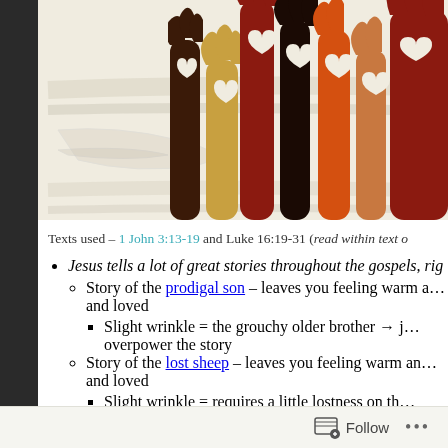[Figure (illustration): Colorful illustration of raised hands in various skin tones (red, orange, tan, dark brown, gold) with heart shapes cut out, against a light textured background]
Texts used – 1 John 3:13-19 and Luke 16:19-31 (read within text o
Jesus tells a lot of great stories throughout the gospels, rig
Story of the prodigal son – leaves you feeling warm a… and loved
Slight wrinkle = the grouchy older brother → j… overpower the story
Story of the lost sheep – leaves you feeling warm an… and loved
Slight wrinkle = requires a little lostness on th… one likes being lost → But in reality, we know
Follow   •••